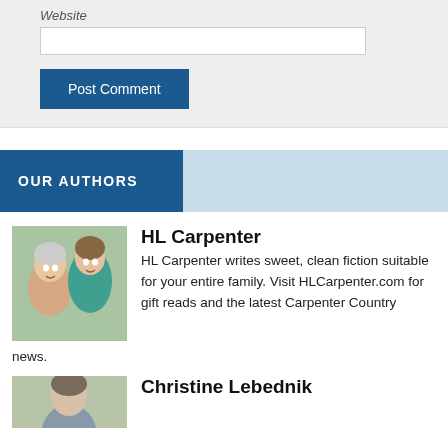Website
[Figure (other): Text input field for website URL]
Post Comment
OUR AUTHORS
[Figure (photo): Photo of two women, one elderly and one younger, smiling]
HL Carpenter
HL Carpenter writes sweet, clean fiction suitable for your entire family. Visit HLCarpenter.com for gift reads and the latest Carpenter Country news.
[Figure (photo): Partial photo of Christine Lebednik]
Christine Lebednik